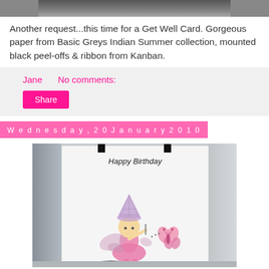[Figure (photo): Partial top of a photograph, cropped at the top of the page]
Another request...this time for a Get Well Card. Gorgeous paper from Basic Greys Indian Summer collection, mounted black peel-offs & ribbon from Kanban.
Jane    No comments:
Share
Wednesday, 20 January 2010
[Figure (photo): A birthday card featuring a cute fairy illustration holding a net with a butterfly, with 'Happy Birthday' text at the top. The card is photographed propped up against a white wall.]